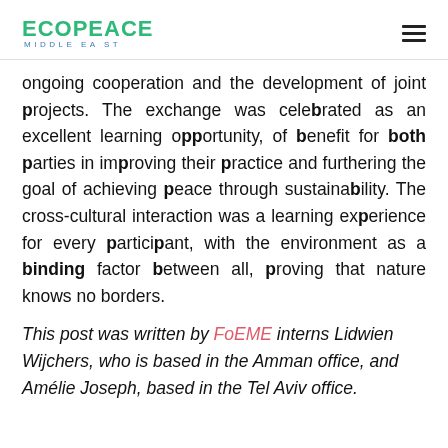ECOPEACE MIDDLE EAST
ongoing cooperation and the development of joint projects. The exchange was celebrated as an excellent learning opportunity, of benefit for both parties in improving their practice and furthering the goal of achieving peace through sustainability. The cross-cultural interaction was a learning experience for every participant, with the environment as a binding factor between all, proving that nature knows no borders.
This post was written by FoEME interns Lidwien Wijchers, who is based in the Amman office, and Amélie Joseph, based in the Tel Aviv office.